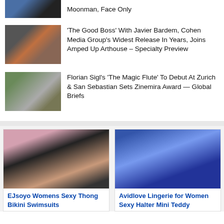[Figure (photo): Thumbnail of Moonman article – partial image visible at top]
Moonman, Face Only
[Figure (photo): Thumbnail for The Good Boss article with Javier Bardem]
'The Good Boss' With Javier Bardem, Cohen Media Group's Widest Release In Years, Joins Amped Up Arthouse – Specialty Preview
[Figure (photo): Thumbnail for Florian Sigl's The Magic Flute article]
Florian Sigl's 'The Magic Flute' To Debut At Zurich & San Sebastian Sets Zinemira Award — Global Briefs
[Figure (photo): Ad image: EJsoyo Womens Sexy Thong Bikini Swimsuits – woman in black bikini]
EJsoyo Womens Sexy Thong Bikini Swimsuits
[Figure (photo): Ad image: Avidlove Lingerie for Women Sexy Halter Mini Teddy – woman in blue lace lingerie]
Avidlove Lingerie for Women Sexy Halter Mini Teddy